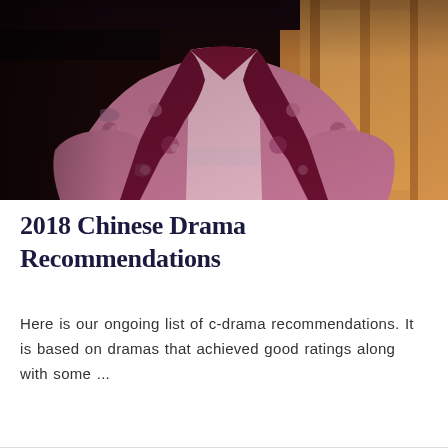[Figure (photo): A person wearing a pink floral embroidered Chinese traditional robe/hanfu with a dark maroon collar and trim. The background is blurred with warm amber/golden tones suggesting a traditional interior setting. Only the torso is visible, no face shown.]
2018 Chinese Drama Recommendations
Here is our ongoing list of c-drama recommendations. It is based on dramas that achieved good ratings along with some ...